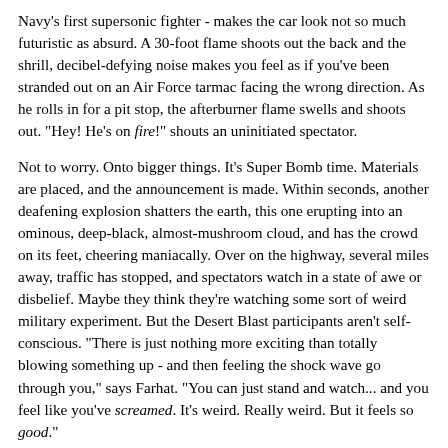Navy's first supersonic fighter - makes the car look not so much futuristic as absurd. A 30-foot flame shoots out the back and the shrill, decibel-defying noise makes you feel as if you've been stranded out on an Air Force tarmac facing the wrong direction. As he rolls in for a pit stop, the afterburner flame swells and shoots out. "Hey! He's on fire!" shouts an uninitiated spectator.
Not to worry. Onto bigger things. It's Super Bomb time. Materials are placed, and the announcement is made. Within seconds, another deafening explosion shatters the earth, this one erupting into an ominous, deep-black, almost-mushroom cloud, and has the crowd on its feet, cheering maniacally. Over on the highway, several miles away, traffic has stopped, and spectators watch in a state of awe or disbelief. Maybe they think they're watching some sort of weird military experiment. But the Desert Blast participants aren't self-conscious. "There is just nothing more exciting than totally blowing something up - and then feeling the shock wave go through you," says Farhat. "You can just stand and watch... and you feel like you've screamed. It's weird. Really weird. But it feels so good."
Out on the rocket pad, Lazar and Lew (aka The Viking) Godel are preparing the test launch. Godel is the sort who enjoys living wildly. "This is a unique guy," Lazar explains, as Godel hunkers down on the ground near the 5-foot-tall stealth-black rocket that